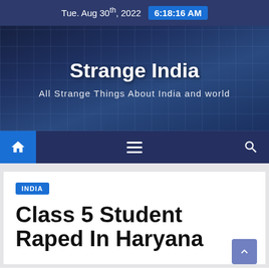Tue. Aug 30th, 2022  6:18:16 AM
[Figure (screenshot): Strange India website hero banner with dark blue glass building background]
Strange India
All Strange Things About India and world
[Figure (screenshot): Navigation bar with home icon (blue background), hamburger menu, and search icon on dark navy background]
INDIA
Class 5 Student Raped In Haryana